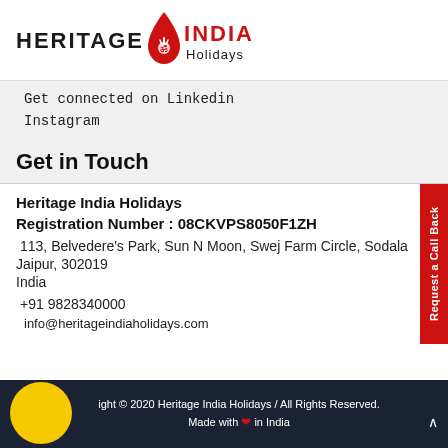[Figure (logo): Heritage India Holidays logo with red teardrop/flame icon]
Get connected on Linkedin
Instagram
Get in Touch
Heritage India Holidays
Registration Number : 08CKVPS8050F1ZH
113, Belvedere's Park, Sun N Moon, Swej Farm Circle, Sodala
Jaipur, 302019
India
+91 9828340000
info@heritageindiaholidays.com
ight © 2020 Heritage India Holidays / All Rights Reserved. Made with ❤ in India